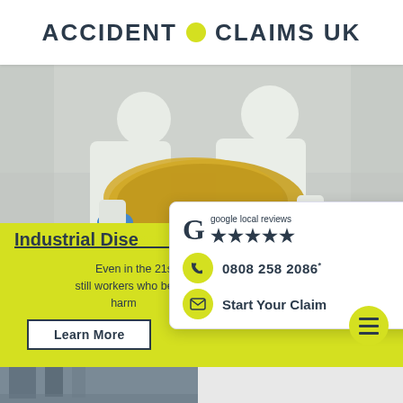ACCIDENT • CLAIMS UK
[Figure (photo): Two workers in white hazmat suits and blue gloves handling yellow fibrous insulation material]
Industrial Dise...
Even in the 21st c... still workers who bec... harm...
Learn More
[Figure (infographic): Google local reviews widget showing 5 stars, phone number 0808 258 2086, and Start Your Claim email button]
[Figure (other): Hamburger menu button (yellow circle with three lines)]
[Figure (photo): Partial bottom photo strip showing industrial or mechanical scene]